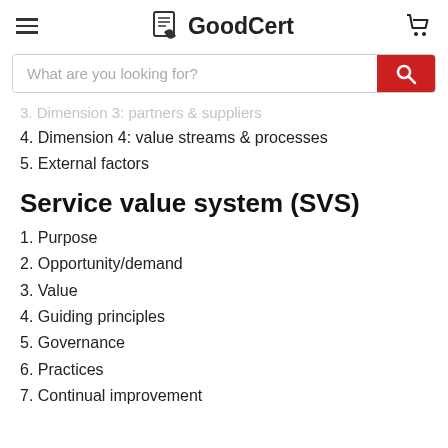GoodCert
3. Dimension 3: partners & suppliers
4. Dimension 4: value streams & processes
5. External factors
Service value system (SVS)
1. Purpose
2. Opportunity/demand
3. Value
4. Guiding principles
5. Governance
6. Practices
7. Continual improvement